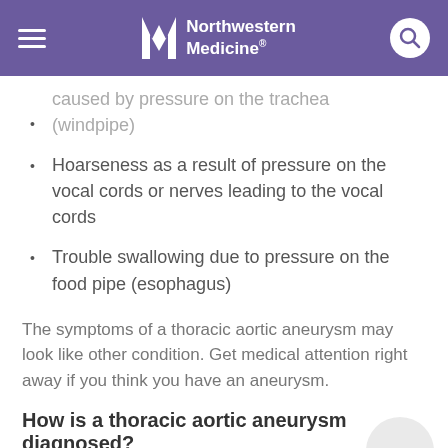Northwestern Medicine
caused by pressure on the trachea (windpipe)
Hoarseness as a result of pressure on the vocal cords or nerves leading to the vocal cords
Trouble swallowing due to pressure on the food pipe (esophagus)
The symptoms of a thoracic aortic aneurysm may look like other condition. Get medical attention right away if you think you have an aneurysm.
How is a thoracic aortic aneurysm diagnosed?